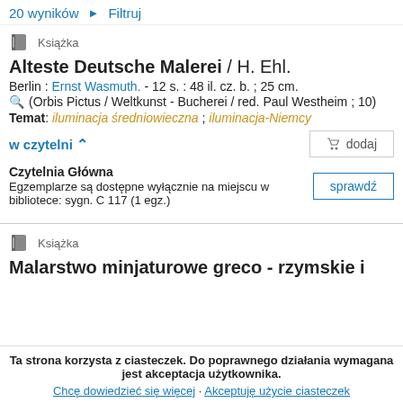20 wyników ▶ Filtruj
Książka
Alteste Deutsche Malerei / H. Ehl.
Berlin : Ernst Wasmuth. - 12 s. : 48 il. cz. b. ; 25 cm.
(Orbis Pictus / Weltkunst - Bucherei / red. Paul Westheim ; 10)
Temat: iluminacja średniowieczna ; iluminacja-Niemcy
w czytelni ∧∧
dodaj
Czytelnia Główna
Egzemplarze są dostępne wyłącznie na miejscu w bibliotece: sygn. C 117 (1 egz.)
sprawdź
Książka
Malarstwo minjaturowe greco - rzymskie i
Ta strona korzysta z ciasteczek. Do poprawnego działania wymagana jest akceptacja użytkownika.
Chcę dowiedzieć się więcej · Akceptuję użycie ciasteczek